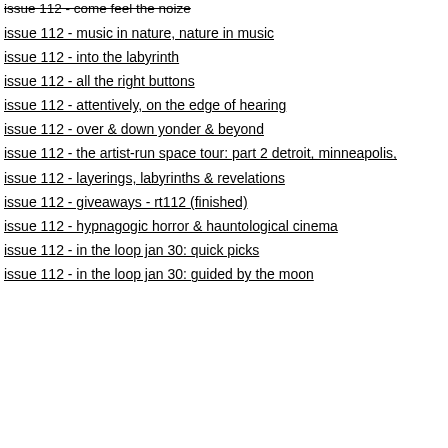issue 112 - come feel the noize
issue 112 - music in nature, nature in music
issue 112 - into the labyrinth
issue 112 - all the right buttons
issue 112 - attentively, on the edge of hearing
issue 112 - over & down yonder & beyond
issue 112 - the artist-run space tour: part 2 detroit, minneapolis,
issue 112 - layerings, labyrinths & revelations
issue 112 - giveaways - rt112 (finished)
issue 112 - hypnagogic horror & hauntological cinema
issue 112 - in the loop jan 30: quick picks
issue 112 - in the loop jan 30: guided by the moon